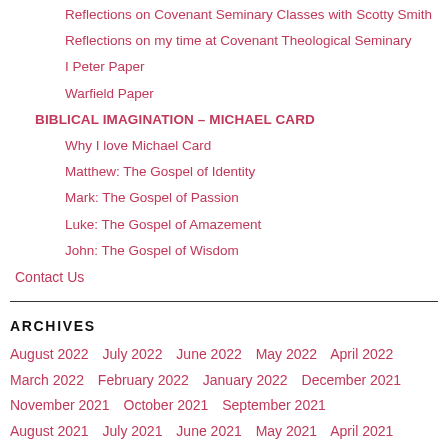Reflections on Covenant Seminary Classes with Scotty Smith
Reflections on my time at Covenant Theological Seminary
I Peter Paper
Warfield Paper
BIBLICAL IMAGINATION – MICHAEL CARD
Why I love Michael Card
Matthew: The Gospel of Identity
Mark: The Gospel of Passion
Luke: The Gospel of Amazement
John: The Gospel of Wisdom
Contact Us
ARCHIVES
August 2022   July 2022   June 2022   May 2022   April 2022   March 2022   February 2022   January 2022   December 2021   November 2021   October 2021   September 2021   August 2021   July 2021   June 2021   May 2021   April 2021